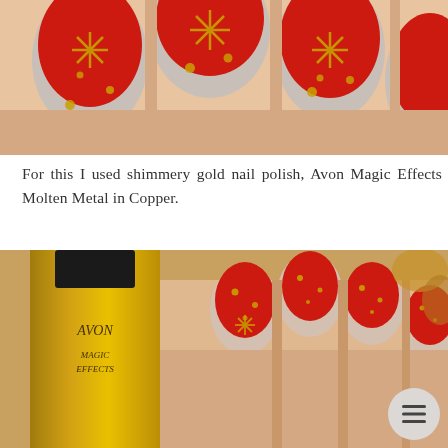[Figure (photo): Close-up of red nails with gold glitter snowflake and dot designs painted on them, fingers resting together]
For this I used shimmery gold nail polish, Avon Magic Effects Molten Metal in Copper.
[Figure (photo): A gold glitter nail polish bottle labeled Avon Magic Effects held next to a hand with red nails decorated with gold glitter snowflake designs; a hamburger menu icon button visible in the bottom-right corner]